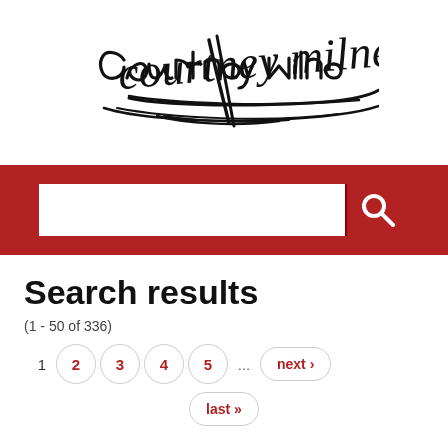[Figure (logo): Courtney Milne signature logo in handwritten script with decorative underline]
[Figure (screenshot): Red search bar with white text input field and red search button with magnifying glass icon]
Search results
(1 - 50 of 336)
1  2  3  4  5  ...  next ›  last »